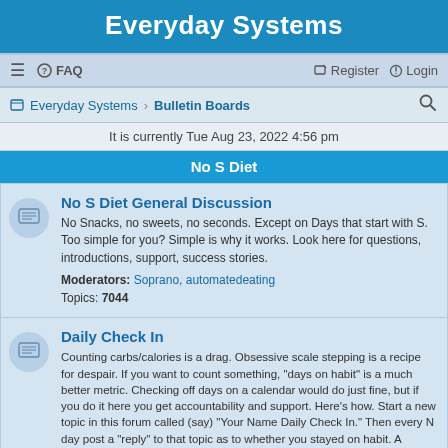Everyday Systems
FAQ  Register  Login
Everyday Systems · Bulletin Boards
It is currently Tue Aug 23, 2022 4:56 pm
No S Diet
No S Diet General Discussion
No Snacks, no sweets, no seconds. Except on Days that start with S. Too simple for you? Simple is why it works. Look here for questions, introductions, support, success stories.
Moderators: Soprano, automatedeating
Topics: 7044
Daily Check In
Counting carbs/calories is a drag. Obsessive scale stepping is a recipe for despair. If you want to count something, "days on habit" is a much better metric. Checking off days on a calendar would do just fine, but if you do it here you get accountability and support. Here's how. Start a new topic in this forum called (say) "Your Name Daily Check In." Then every N day post a "reply" to that topic as to whether you stayed on habit. A simple "<font color="green">SUCCESS</font>" or "<font color="red">FAILURE</font>" (or your preferred euphemism if that's too harsh) is sufficient, but obviously you're welcome to write more if you want. On S-days just register that you're taking an S-day. You don't have to do this forever, just until you're confident you've built the habit. Feel free to check in weekly or monthly or sporadically instead of daily. Feel free also to track other habits besides No-s (I'm keeping this forum under No-s because that's what the vast majority are using it for). See also my <a href="/habitcal/">HabitCal</a> tool for another more formal (and perhaps complementary) way to track habits.